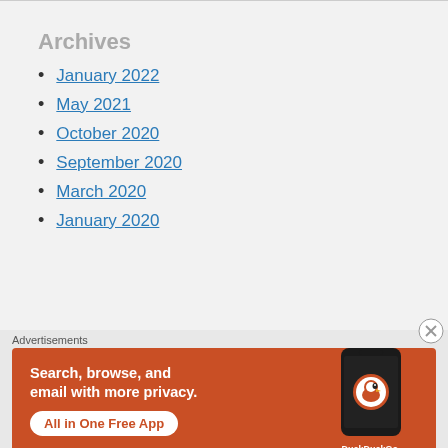Archives
January 2022
May 2021
October 2020
September 2020
March 2020
January 2020
Advertisements
[Figure (screenshot): DuckDuckGo advertisement banner with orange background showing text 'Search, browse, and email with more privacy. All in One Free App' with a phone image and DuckDuckGo logo]